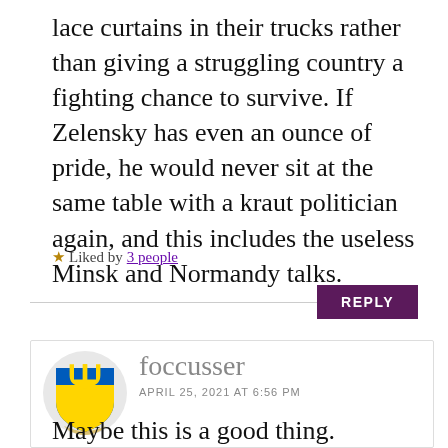lace curtains in their trucks rather than giving a struggling country a fighting chance to survive. If Zelensky has even an ounce of pride, he would never sit at the same table with a kraut politician again, and this includes the useless Minsk and Normandy talks.
★ Liked by 3 people
REPLY
[Figure (illustration): Ukrainian coat of arms (trident) emblem on blue and yellow shield with ribbon, avatar for user foccusser]
foccusser
APRIL 25, 2021 AT 6:56 PM
Maybe this is a good thing.